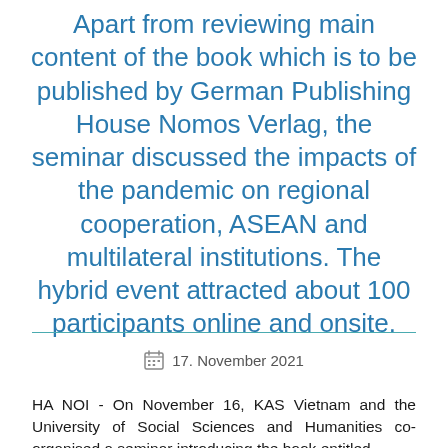Apart from reviewing main content of the book which is to be published by German Publishing House Nomos Verlag, the seminar discussed the impacts of the pandemic on regional cooperation, ASEAN and multilateral institutions. The hybrid event attracted about 100 participants online and onsite.
17. November 2021
HA NOI - On November 16, KAS Vietnam and the University of Social Sciences and Humanities co-organised a seminar introducing the book entitled